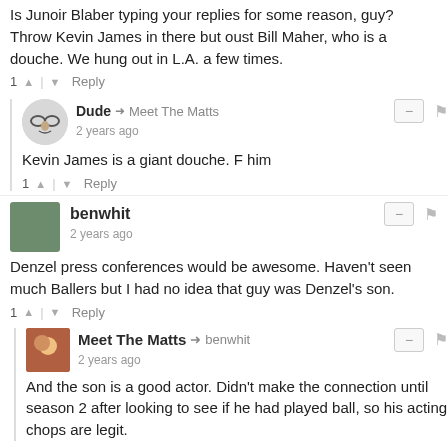Is Junoir Blaber typing your replies for some reason, guy? Throw Kevin James in there but oust Bill Maher, who is a douche. We hung out in L.A. a few times.
1 ↑ | ↓ Reply
Dude → Meet The Matts
2 years ago
Kevin James is a giant douche. F him
1 ↑ | ↓ Reply
benwhit
2 years ago
Denzel press conferences would be awesome. Haven't seen much Ballers but I had no idea that guy was Denzel's son.
1 ↑ | ↓ Reply
Meet The Matts → benwhit
2 years ago
And the son is a good actor. Didn't make the connection until season 2 after looking to see if he had played ball, so his acting chops are legit.